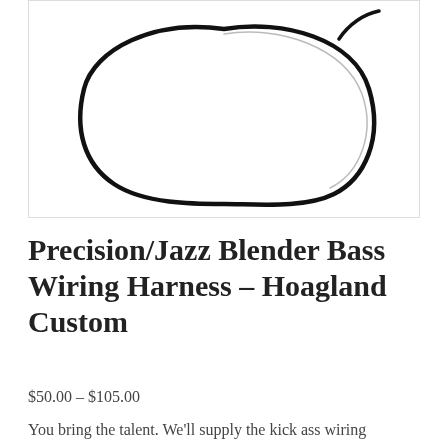[Figure (illustration): Black and white line drawing of a wiring harness loop/coil shape on white background]
Precision/Jazz Blender Bass Wiring Harness – Hoagland Custom
$50.00 – $105.00
You bring the talent. We'll supply the kick ass wiring